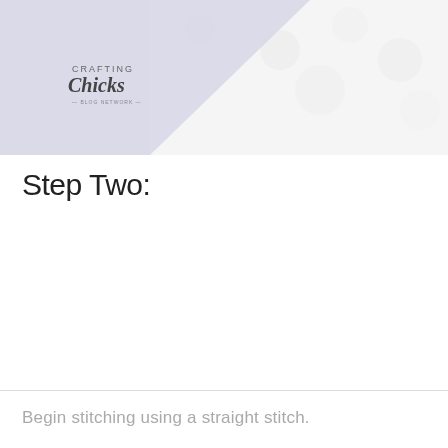[Figure (photo): A close-up photo of white fluffy fabric or material, with a lavender/light purple diagonal section in the upper left corner containing the Crafting Chicks logo.]
Step Two:
Begin stitching using a straight stitch.